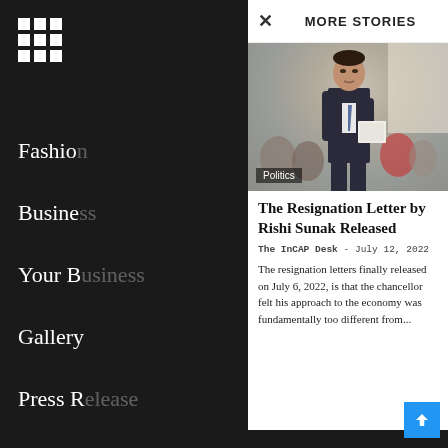[Figure (screenshot): Grid/menu icon (3x3 dots) in white on dark sidebar]
Fashion
Business
Your B
Gallery
Press R
Editori
× MORE STORIES
[Figure (photo): Rishi Sunak in dark suit walking through a formal room holding documents; Politics badge overlaid at bottom left]
The Resignation Letter by Rishi Sunak Released
The InCAP Desk  -  July 12, 2022
The resignation letters finally released on July 6, 2022, is that the chancellor felt his approach to the economy was fundamentally too different from...